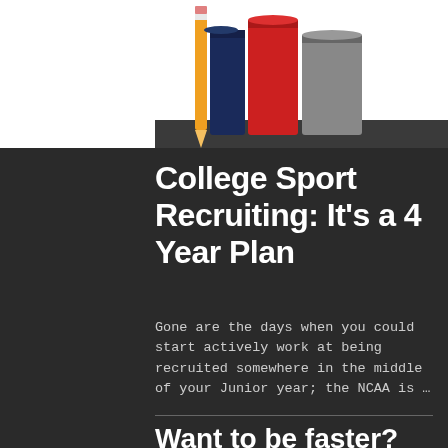[Figure (illustration): Stack of books (pencil, red book, blue book, gray/dark book) photographed from below on white background]
College Sport Recruiting: It’s a 4 Year Plan
Gone are the days when you could start actively work at being recruited somewhere in the middle of your Junior year; the NCAA is …
Want to be faster? Learn to Slow Down.